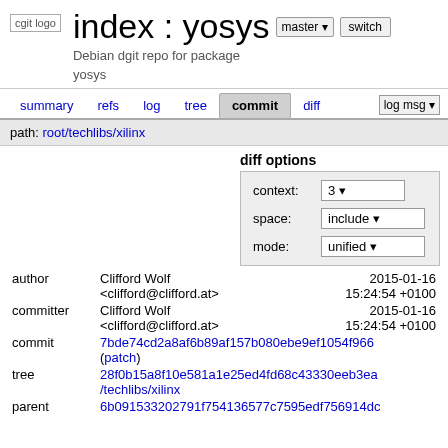[Figure (logo): cgit logo - small image placeholder with text 'cgit logo']
index : yosys
Debian dgit repo for package yosys
summary  refs  log  tree  commit  diff  log msg
path: root/techlibs/xilinx
diff options
| option | value |
| --- | --- |
| context: | 3 |
| space: | include |
| mode: | unified |
| field | value | date |
| --- | --- | --- |
| author | Clifford Wolf
<clifford@clifford.at> | 2015-01-16
15:24:54 +0100 |
| committer | Clifford Wolf
<clifford@clifford.at> | 2015-01-16
15:24:54 +0100 |
| commit | 7bde74cd2a8af6b89af157b080ebe9ef1054f966 (patch) |  |
| tree | 28f0b15a8f10e581a1e25ed4fd68c43330eeb3ea /techlibs/xilinx |  |
| parent | 6b091533202791f754136577c7595edf756914dc |  |